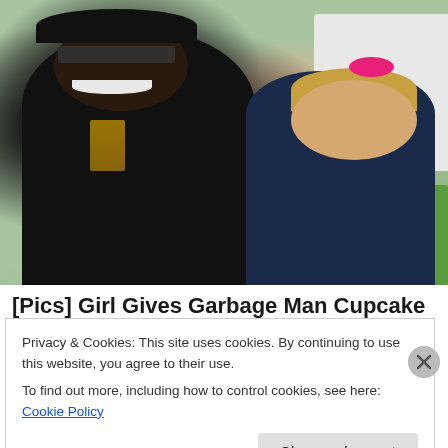[Figure (photo): A man wearing a black cap and sunglasses smiling widely next to a small girl with blonde hair and a pink bow, posing together outdoors near a white truck with green grass in the background.]
[Pics] Girl Gives Garbage Man Cupcake Every
Privacy & Cookies: This site uses cookies. By continuing to use this website, you agree to their use.
To find out more, including how to control cookies, see here: Cookie Policy
Close and accept